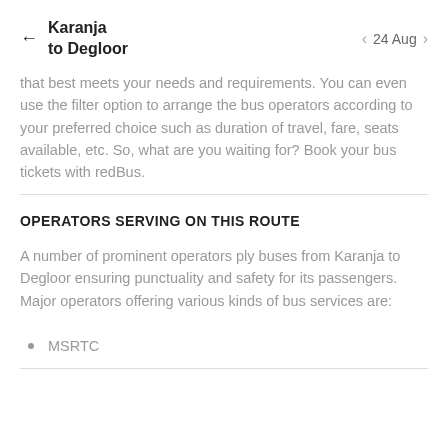Karanja to Degloor | 24 Aug
that best meets your needs and requirements. You can even use the filter option to arrange the bus operators according to your preferred choice such as duration of travel, fare, seats available, etc. So, what are you waiting for? Book your bus tickets with redBus.
OPERATORS SERVING ON THIS ROUTE
A number of prominent operators ply buses from Karanja to Degloor ensuring punctuality and safety for its passengers. Major operators offering various kinds of bus services are:
MSRTC